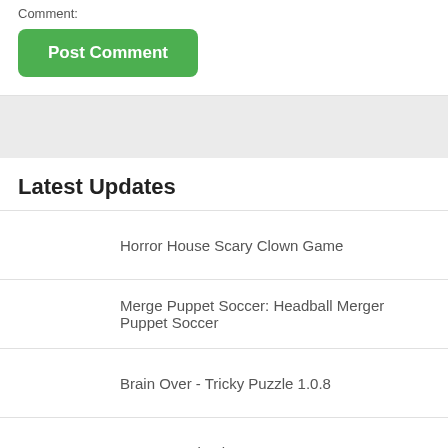Post Comment (button)
Latest Updates
Horror House Scary Clown Game
Merge Puppet Soccer: Headball Merger Puppet Soccer
Brain Over - Tricky Puzzle 1.0.8
Connect Animal
Holyscapes - Bible Word Game 1.1.1